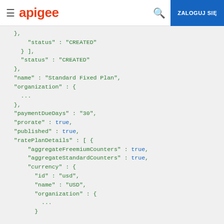≡ apigee 🔍 ZALOGUJ SIĘ
[Figure (screenshot): JSON code block showing API rate plan configuration with fields: status CREATED, name Standard Fixed Plan, organization, paymentDueDays 30, prorate true, published true, ratePlanDetails with aggregateFreemiumCounters true, aggregateStandardCounters true, currency id usd, name USD, organization]